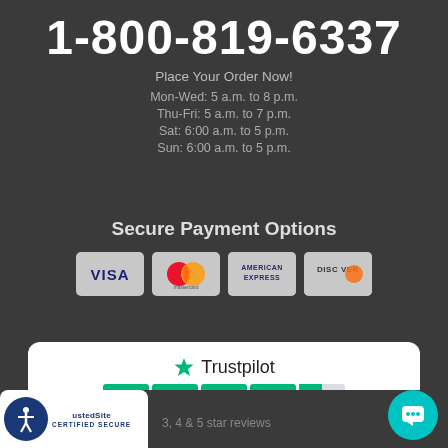1-800-819-6337
Place Your Order Now!
Mon-Wed: 5 a.m. to 8 p.m.
Thu-Fri: 5 a.m. to 7 p.m.
Sat: 6:00 a.m. to 5 p.m.
Sun: 6:00 a.m. to 5 p.m.
Secure Payment Options
[Figure (logo): Payment card logos: Visa, Mastercard, American Express, Discover]
[Figure (logo): Trustpilot rating widget showing 4.6 TrustScore with 3,243 reviews and 4.5 green stars]
TrustScore 4.6 | 3,243 reviews
3, 4 & 5 star reviews